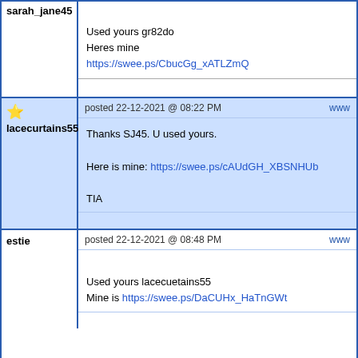sarah_jane45 — Used yours gr82do
Heres mine
https://swee.ps/CbucGg_xATLZmQ
lacecurtains55 — posted 22-12-2021 @ 08:22 PM — www
Thanks SJ45. U used yours.
Here is mine: https://swee.ps/cAUdGH_XBSNHUb
TIA
estie — posted 22-12-2021 @ 08:48 PM — www
Used yours lacecuetains55
Mine is https://swee.ps/DaCUHx_HaTnGWt